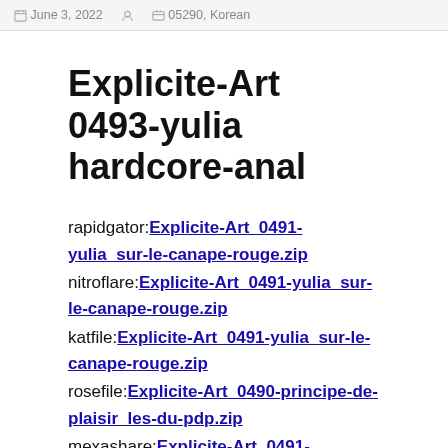June 3, 2022   05290, Korean
Explicite-Art 0493-yulia hardcore-anal
rapidgator:Explicite-Art_0491-yulia_sur-le-canape-rouge.zip
nitroflare:Explicite-Art_0491-yulia_sur-le-canape-rouge.zip
katfile:Explicite-Art_0491-yulia_sur-le-canape-rouge.zip
rosefile:Explicite-Art_0490-principe-de-plaisir_les-du-pdp.zip
mexashare:Explicite-Art_0491-yulia_sur-le-canape-rouge.zip
file:Explicite-Art_0491-yulia_sur-le-cana...